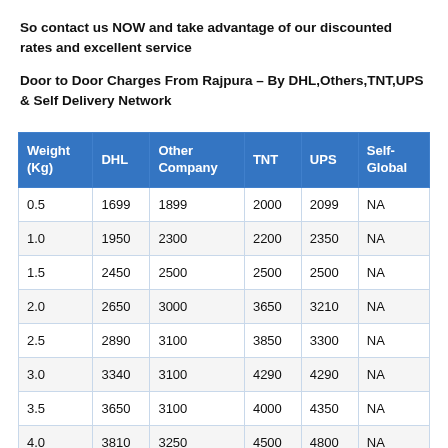So contact us NOW and take advantage of our discounted rates and excellent service
Door to Door Charges From Rajpura – By DHL,Others,TNT,UPS & Self Delivery Network
| Weight (Kg) | DHL | Other Company | TNT | UPS | Self-Global |
| --- | --- | --- | --- | --- | --- |
| 0.5 | 1699 | 1899 | 2000 | 2099 | NA |
| 1.0 | 1950 | 2300 | 2200 | 2350 | NA |
| 1.5 | 2450 | 2500 | 2500 | 2500 | NA |
| 2.0 | 2650 | 3000 | 3650 | 3210 | NA |
| 2.5 | 2890 | 3100 | 3850 | 3300 | NA |
| 3.0 | 3340 | 3100 | 4290 | 4290 | NA |
| 3.5 | 3650 | 3100 | 4000 | 4350 | NA |
| 4.0 | 3810 | 3250 | 4500 | 4800 | NA |
| 4.5 | 4215 | 3500 | 4800 | 5500 | NA |